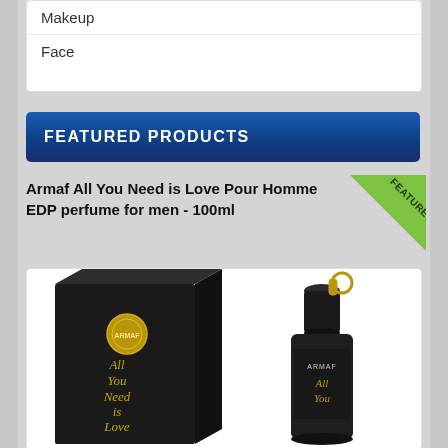Makeup
Face
FEATURED PRODUCTS
Armaf All You Need is Love Pour Homme EDP perfume for men - 100ml
[Figure (photo): Product photo showing Armaf All You Need is Love Pour Homme EDP perfume box and bottle, both in matte black with gold script lettering and gold accents.]